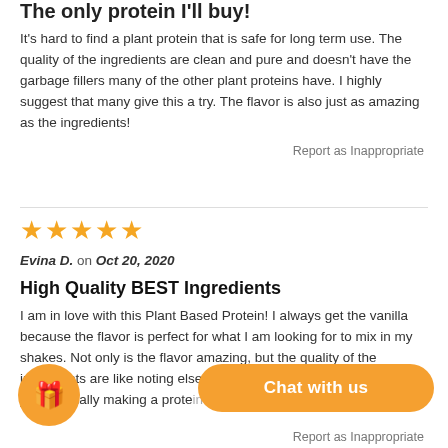The only protein I'll buy!
It's hard to find a plant protein that is safe for long term use. The quality of the ingredients are clean and pure and doesn't have the garbage fillers many of the other plant proteins have. I highly suggest that many give this a try. The flavor is also just as amazing as the ingredients!
Report as Inappropriate
[Figure (other): 5 orange star rating icons]
Evina D. on Oct 20, 2020
High Quality BEST Ingredients
I am in love with this Plant Based Protein! I always get the vanilla because the flavor is perfect for what I am looking for to mix in my shakes. Not only is the flavor amazing, but the quality of the ingredients are like noting else you can find in the market. Thank you for finally making a protein without all the fillers.
Report as Inappropriate